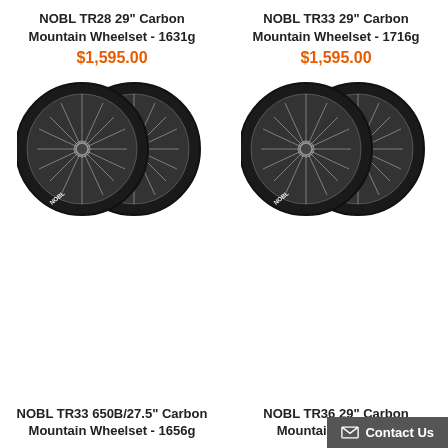NOBL TR28 29" Carbon Mountain Wheelset - 1631g
$1,595.00
[Figure (photo): Two carbon mountain bike wheels (NOBL TR28) with black rims and silver spokes, shown side by side]
NOBL TR33 29" Carbon Mountain Wheelset - 1716g
$1,595.00
[Figure (photo): Two carbon mountain bike wheels (NOBL TR33) with black rims and silver spokes, shown side by side]
NOBL TR33 650B/27.5" Carbon Mountain Wheelset - 1656g
NOBL TR36 29" Carbon Mountain